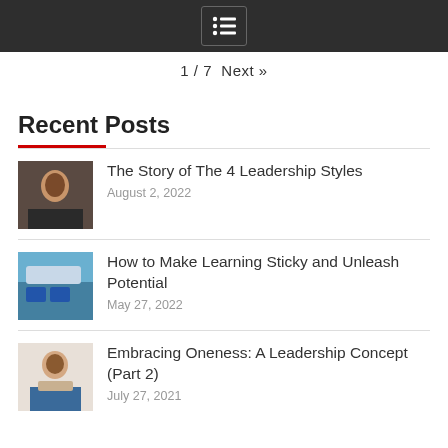menu icon
1 / 7  Next »
Recent Posts
The Story of The 4 Leadership Styles
August 2, 2022
How to Make Learning Sticky and Unleash Potential
May 27, 2022
Embracing Oneness: A Leadership Concept (Part 2)
July 27, 2021